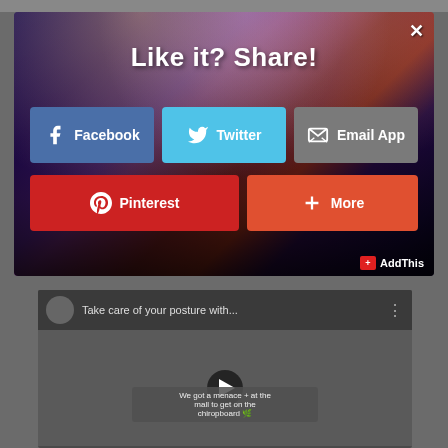[Figure (screenshot): A social sharing modal overlay on a concert/music event background photo. The modal shows 'Like it? Share!' heading with five sharing buttons: Facebook (blue), Twitter (light blue), Email App (gray), Pinterest (red), and More (orange-red). An AddThis branding is in the bottom right. Behind/below the modal is a partially visible YouTube video titled 'Take care of your posture with...' with silhouette crowd. A close X button is in the top right of the modal.]